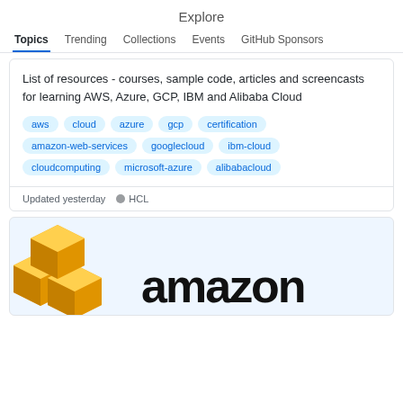Explore
Topics  Trending  Collections  Events  GitHub Sponsors
List of resources - courses, sample code, articles and screencasts for learning AWS, Azure, GCP, IBM and Alibaba Cloud
aws
cloud
azure
gcp
certification
amazon-web-services
googlecloud
ibm-cloud
cloudcomputing
microsoft-azure
alibabacloud
Updated yesterday   HCL
[Figure (logo): Amazon AWS logo with yellow 3D cubes and the word 'amazon' in black bold text]